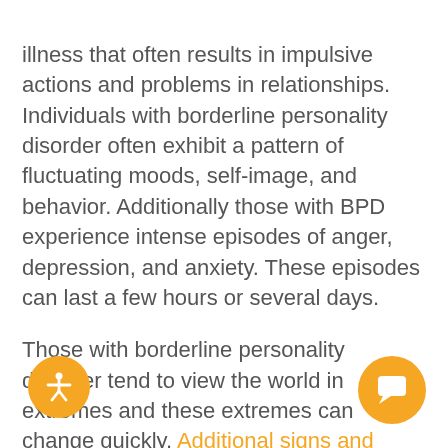illness that often results in impulsive actions and problems in relationships. Individuals with borderline personality disorder often exhibit a pattern of fluctuating moods, self-image, and behavior. Additionally those with BPD experience intense episodes of anger, depression, and anxiety. These episodes can last a few hours or several days.
Those with borderline personality disorder tend to view the world in extremes and these extremes can change quickly. Additional signs and symptoms of borderline personality disorder include suicidal thoughts, impulsive behaviors, unstable relationships, fear of abandonment, and chronic feelings of emptiness. As with addiction,